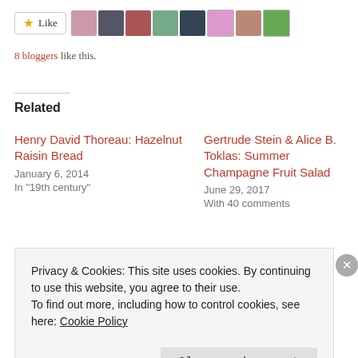[Figure (other): Like button with star icon and 8 blogger avatar thumbnails]
8 bloggers like this.
Related
Henry David Thoreau: Hazelnut Raisin Bread
January 6, 2014
In "19th century"
Gertrude Stein & Alice B. Toklas: Summer Champagne Fruit Salad
June 29, 2017
With 40 comments
J.R.R. Tolkien: Marinated Mushroom Salad with Spiced Yogurt
Privacy & Cookies: This site uses cookies. By continuing to use this website, you agree to their use.
To find out more, including how to control cookies, see here: Cookie Policy
Close and accept